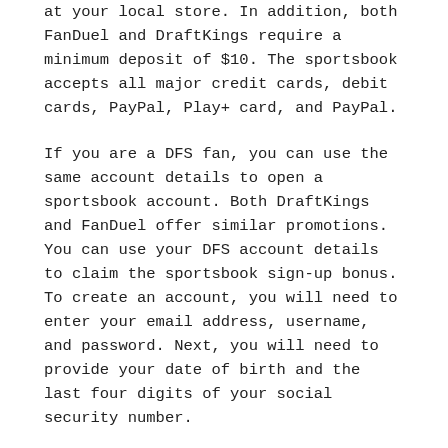at your local store. In addition, both FanDuel and DraftKings require a minimum deposit of $10. The sportsbook accepts all major credit cards, debit cards, PayPal, Play+ card, and PayPal.
If you are a DFS fan, you can use the same account details to open a sportsbook account. Both DraftKings and FanDuel offer similar promotions. You can use your DFS account details to claim the sportsbook sign-up bonus. To create an account, you will need to enter your email address, username, and password. Next, you will need to provide your date of birth and the last four digits of your social security number.
FanDuel and DraftKings are two popular sportsbooks in the US. Both sportsbooks